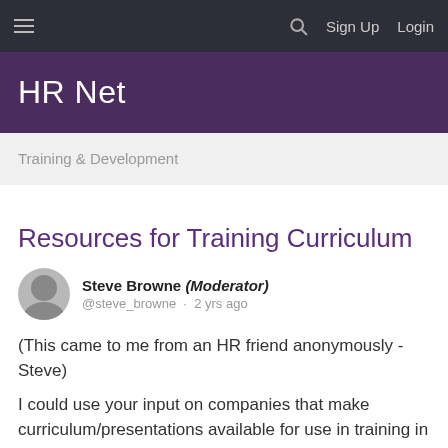HR Net — Sign Up  Login
HR Net
Training & Development
Resources for Training Curriculum
Steve Browne (Moderator)
@steve_browne · 2 yrs ago
(This came to me from an HR friend anonymously - Steve)
I could use your input on companies that make curriculum/presentations available for use in training in these areas: